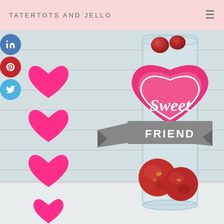TATERTOTS AND JELLO
[Figure (photo): Valentine's Day craft photo showing a glass cylinder vase filled with red foil-wrapped chocolate candies, with a pink heart-shaped tag reading 'Sweet FRIEND' in white and gray text on a gray ribbon banner. Pink heart decorations and social media share buttons (LinkedIn, Pinterest, Twitter) appear on the left side overlay.]